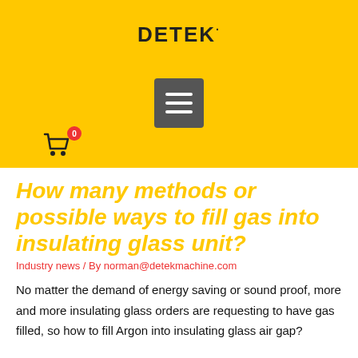[Figure (logo): DETEK brand logo in bold black uppercase letters on yellow background with registered trademark dot]
[Figure (other): Hamburger menu icon (three white horizontal lines) inside a dark grey rounded rectangle, on yellow background]
[Figure (other): Shopping cart icon with red badge showing 0, on yellow background]
How many methods or possible ways to fill gas into insulating glass unit?
Industry news / By norman@detekmachine.com
No matter the demand of energy saving or sound proof, more and more insulating glass orders are requesting to have gas filled, so how to fill Argon into insulating glass air gap?